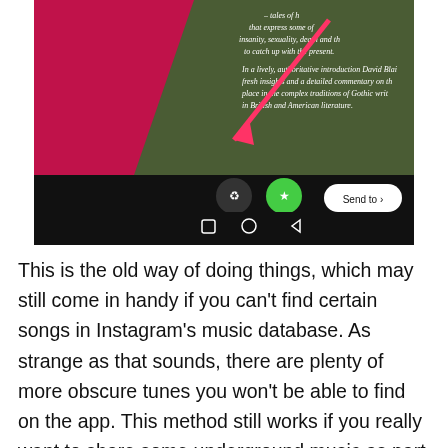[Figure (screenshot): Screenshot of Instagram app showing a photo of a book with Gothic literature text visible, with a pink arrow pointing down, and the Instagram sharing UI at the bottom showing 'Your Story', 'Close Friends' icons and a 'Send to >' button, along with Android navigation bar.]
This is the old way of doing things, which may still come in handy if you can't find certain songs in Instagram's music database. As strange as that sounds, there are plenty of more obscure tunes you won't be able to find on the app. This method still works if you really want to share some underground music as part of your Story.